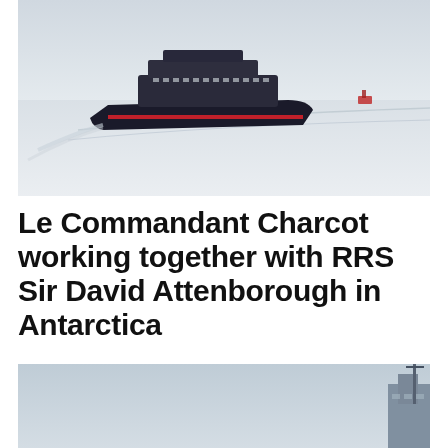[Figure (photo): Aerial view of a large dark-hulled cruise ship (Le Commandant Charcot) navigating through icy Antarctic waters, leaving a wake in the snow-white sea ice. A smaller red vessel is visible in the far background.]
Le Commandant Charcot working together with RRS Sir David Attenborough in Antarctica
[Figure (photo): Partial view of a research vessel (RRS Sir David Attenborough) against a pale blue-grey sky, showing the ship's superstructure and mast on the right edge.]